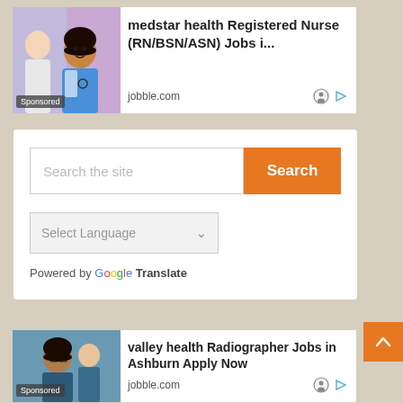[Figure (photo): Sponsored ad banner: medstar health Registered Nurse (RN/BSN/ASN) Jobs i... from jobble.com, showing a smiling nurse in scrubs]
[Figure (screenshot): White card panel with a search box labeled 'Search the site' and an orange 'Search' button, followed by a language selector (Select Language dropdown), and 'Powered by Google Translate' text]
[Figure (photo): Sponsored ad banner: valley health Radiographer Jobs in Ashburn Apply Now from jobble.com, showing healthcare workers]